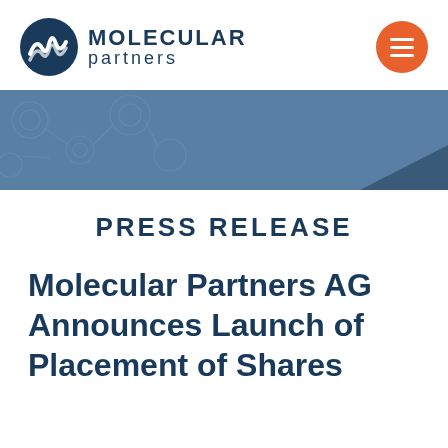[Figure (logo): Molecular Partners logo with circular icon and text]
[Figure (illustration): Orange circle hamburger menu button]
[Figure (illustration): Blue decorative banner with circuit-like pattern and dark triangle notch]
PRESS RELEASE
Molecular Partners AG Announces Launch of Placement of Shares